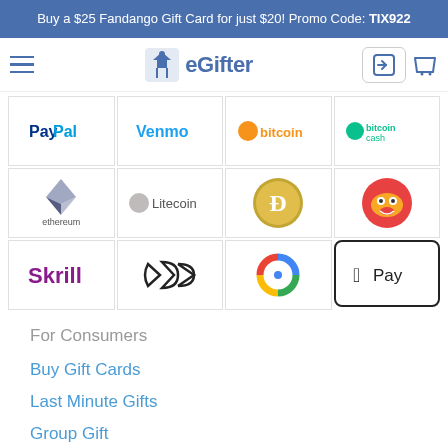Buy a $25 Fandango Gift Card for just $20! Promo Code: TIX922
[Figure (logo): eGifter navigation bar with hamburger menu, eGifter logo, login button, and cart icon]
[Figure (other): Payment methods grid showing PayPal, Venmo, Bitcoin, Bitcoin Cash, Ethereum, Litecoin, Dogecoin, Shiba Inu, Skrill, Fold, Google Pay, Apple Pay logos]
For Consumers
Buy Gift Cards
Last Minute Gifts
Group Gift
Group Gift by Brand